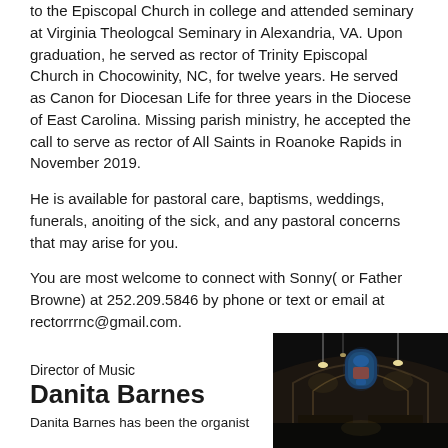to the Episcopal Church in college and attended seminary at Virginia Theologcal Seminary in Alexandria, VA. Upon graduation, he served as rector of Trinity Episcopal Church in Chocowinity, NC, for twelve years. He served as Canon for Diocesan Life for three years in the Diocese of East Carolina. Missing parish ministry, he accepted the call to serve as rector of All Saints in Roanoke Rapids in November 2019.
He is available for pastoral care, baptisms, weddings, funerals, anoiting of the sick, and any pastoral concerns that may arise for you.
You are most welcome to connect with Sonny( or Father Browne) at 252.209.5846 by phone or text or email at rectorrrnc@gmail.com.
Director of Music
Danita Barnes
Danita Barnes has been the organist...
[Figure (photo): Interior of a church showing an arched ceiling with hanging pendant lights and a stained glass window at the far end, photographed in low light.]